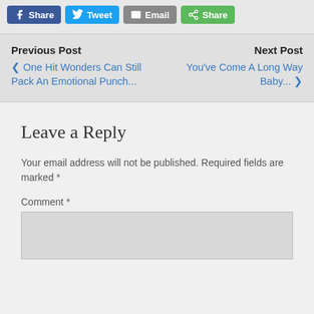Share buttons: Facebook Share, Twitter Tweet, Email, Share
Previous Post | Next Post
< One Hit Wonders Can Still Pack An Emotional Punch... | You've Come A Long Way Baby... >
Leave a Reply
Your email address will not be published. Required fields are marked *
Comment *